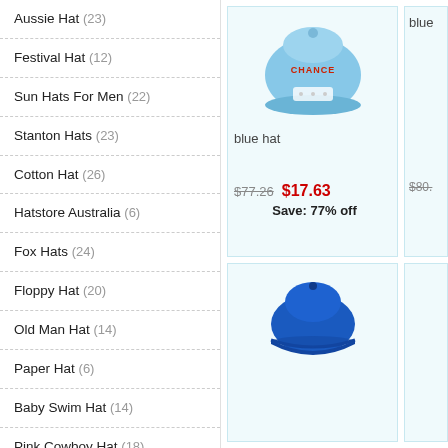Aussie Hat (23)
Festival Hat (12)
Sun Hats For Men (22)
Stanton Hats (23)
Cotton Hat (26)
Hatstore Australia (6)
Fox Hats (24)
Floppy Hat (20)
Old Man Hat (14)
Paper Hat (6)
Baby Swim Hat (14)
Pink Cowboy Hat (18)
Army Hat (20)
Homburg Hat (17)
Vietnamese Hat (4)
Fedora Hat Women (11)
[Figure (photo): Back view of a light blue snapback hat with 'CHANCE' text in red on the back panel]
blue hat
$77.26  $17.63  Save: 77% off
blue
[Figure (photo): Blue baseball cap shown from the side]